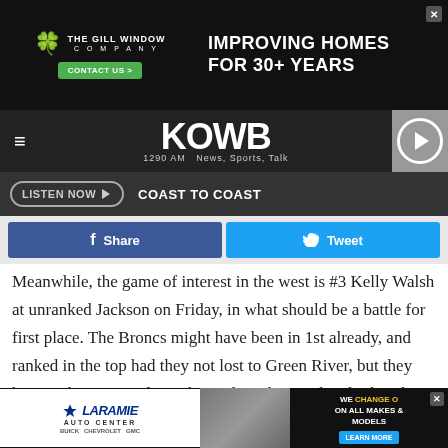[Figure (screenshot): Top advertisement banner for The Gill Window Company - IMPROVING HOMES FOR 30+ YEARS with Contact Us button]
KOWB 1290 AM News, Sports, Talk
LISTEN NOW ▶   COAST TO COAST
Share   Tweet
Meanwhile, the game of interest in the west is #3 Kelly Walsh at unranked Jackson on Friday, in what should be a battle for first place. The Broncs might have been in 1st already, and ranked in the top had they not lost to Green River, but they have a chance to redeem themselves this weekend. Sheridan is still looking for some love. The Broncs have won 4 straight to even up their record, after dropping
[Figure (screenshot): Bottom advertisement banner for Laramie Auto Center - WE CHANGE OIL ON ALL MAKES & MODELS - LEARN MORE]